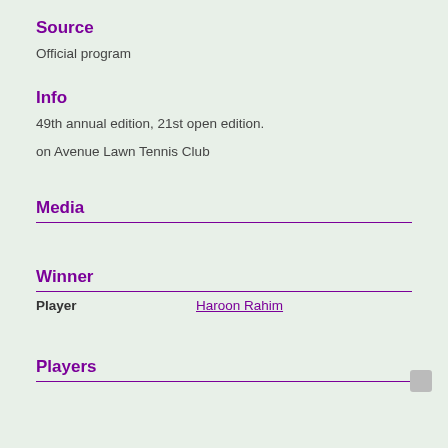Source
Official program
Info
49th annual edition, 21st open edition.
on Avenue Lawn Tennis Club
Media
Winner
| Player |  |
| --- | --- |
| Player | Haroon Rahim |
Players